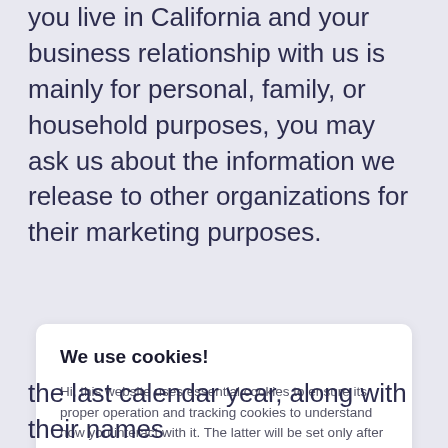you live in California and your business relationship with us is mainly for personal, family, or household purposes, you may ask us about the information we release to other organizations for their marketing purposes.
We use cookies!
Hi, this website uses essential cookies to ensure its proper operation and tracking cookies to understand how you interact with it. The latter will be set only after consent. Let me choose
Accept all
Reject all
the last calendar year, along with their names